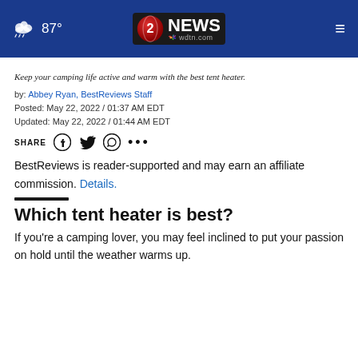87° | 2 NEWS wdtn.com
Keep your camping life active and warm with the best tent heater.
by: Abbey Ryan, BestReviews Staff
Posted: May 22, 2022 / 01:37 AM EDT
Updated: May 22, 2022 / 01:44 AM EDT
SHARE [social icons]
BestReviews is reader-supported and may earn an affiliate commission. Details.
Which tent heater is best?
If you're a camping lover, you may feel inclined to put your passion on hold until the weather warms up.